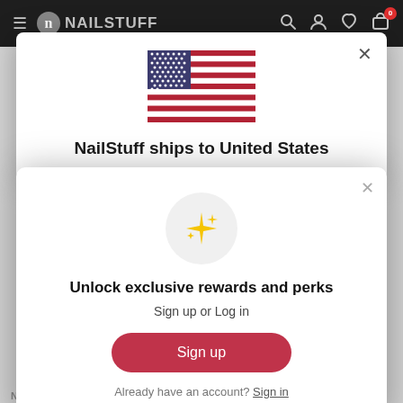NAILSTUFF
[Figure (screenshot): US flag icon shown in country shipping modal]
NailStuff ships to United States
[Figure (illustration): Sparkle/stars icon in a light gray circle]
Unlock exclusive rewards and perks
Sign up or Log in
Sign up
Already have an account? Sign in